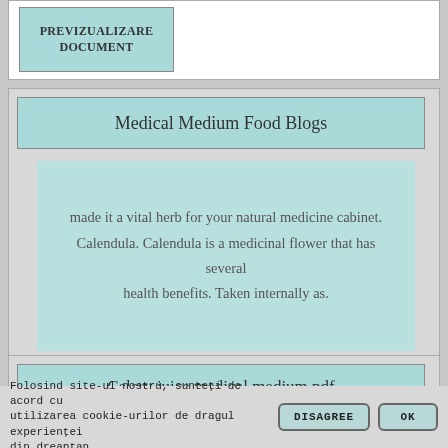[Figure (screenshot): Preview box labeled PREVIZUALIZARE DOCUMENT in teal/light blue at top of card]
Medical Medium Food Blogs
made it a vital herb for your natural medicine cabinet. Calendula. Calendula is a medicinal flower that has several health benefits. Taken internally as.
[Figure (screenshot): Preview box labeled PREVIZUALIZARE DOCUMENT in teal/light blue]
Celery juice medical medium pdf
Folosind site-ul nostru, sunteți de acord cu utilizarea cookie-urilor de dragul experienței din dreaptan.